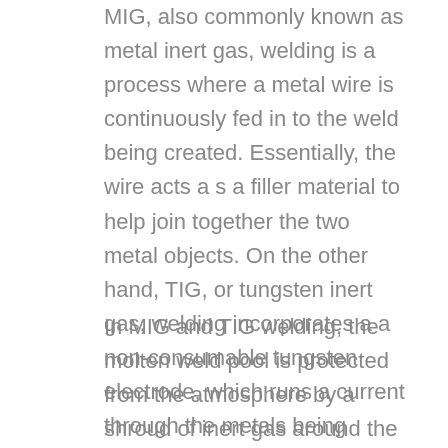MIG, also commonly known as metal inert gas, welding is a process where a metal wire is continuously fed in to the weld being created. Essentially, the wire acts a s a filler material to help join together the two metal objects. On the other hand, TIG, or tungsten inert gas, welding incorporates a a non-consumable tungsten electrode, which runs a current through the metals being joined. TIG welding may or may not use a filler metal depending on the project.
In MIG and TIG welding, the molten weld pool is protected from the atmosphere by a shroud of inert gas around the arc; and though both of these welding techniques have their own advantages, one cannot be speaking of the other. The most...